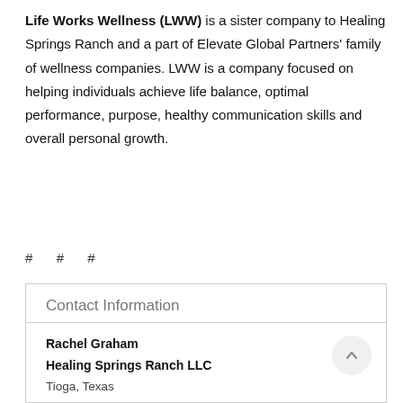Life Works Wellness (LWW) is a sister company to Healing Springs Ranch and a part of Elevate Global Partners' family of wellness companies. LWW is a company focused on helping individuals achieve life balance, optimal performance, purpose, healthy communication skills and overall personal growth.
# # #
Contact Information
Rachel Graham
Healing Springs Ranch LLC
Tioga, Texas
United States
Voice: 940-229-5000